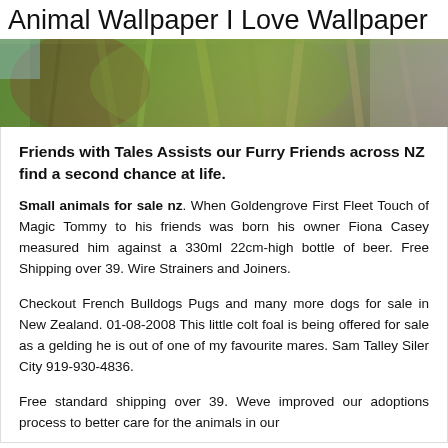Animal Wallpaper I Love Wallpaper
[Figure (photo): Close-up photo of animal fur or feathers in brown, green, and grey tones]
Friends with Tales Assists our Furry Friends across NZ find a second chance at life.
Small animals for sale nz. When Goldengrove First Fleet Touch of Magic Tommy to his friends was born his owner Fiona Casey measured him against a 330ml 22cm-high bottle of beer. Free Shipping over 39. Wire Strainers and Joiners.
Checkout French Bulldogs Pugs and many more dogs for sale in New Zealand. 01-08-2008 This little colt foal is being offered for sale as a gelding he is out of one of my favourite mares. Sam Talley Siler City 919-930-4836.
Free standard shipping over 39. Weve improved our adoptions process to better care for the animals in our